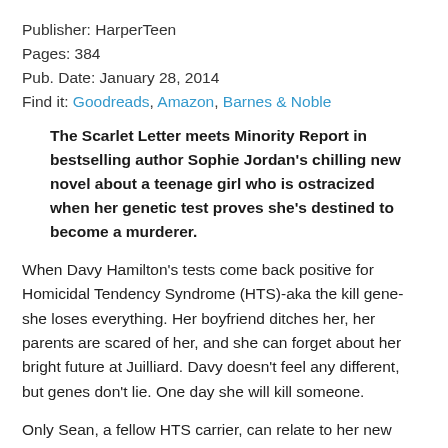Publisher: HarperTeen
Pages: 384
Pub. Date: January 28, 2014
Find it: Goodreads, Amazon, Barnes & Noble
The Scarlet Letter meets Minority Report in bestselling author Sophie Jordan's chilling new novel about a teenage girl who is ostracized when her genetic test proves she's destined to become a murderer.
When Davy Hamilton's tests come back positive for Homicidal Tendency Syndrome (HTS)-aka the kill gene-she loses everything. Her boyfriend ditches her, her parents are scared of her, and she can forget about her bright future at Juilliard. Davy doesn't feel any different, but genes don't lie. One day she will kill someone.
Only Sean, a fellow HTS carrier, can relate to her new life. Davy wants to trust him; maybe he's not as dangerous as he seems. Or maybe Davy is